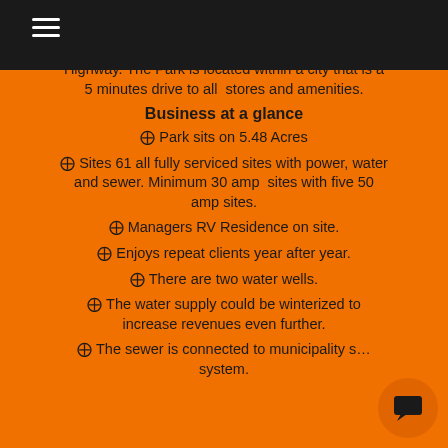Highway. The Park is located within a city that is a 5 minutes drive to all stores and amenities.
Business at a glance
❑ Park sits on 5.48 Acres
❑ Sites 61 all fully serviced sites with power, water and sewer. Minimum 30 amp sites with five 50 amp sites.
❑ Managers RV Residence on site.
❑ Enjoys repeat clients year after year.
❑ There are two water wells.
❑ The water supply could be winterized to increase revenues even further.
❑ The sewer is connected to municipality s… system.